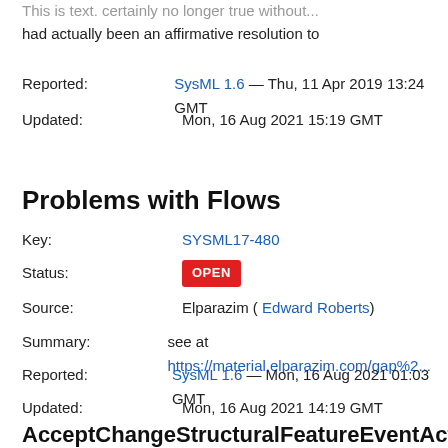This is text. certainly no longer true without... had actually been an affirmative resolution to
Reported: SysML 1.6 — Thu, 11 Apr 2019 13:24 GMT
Updated: Mon, 16 Aug 2021 15:19 GMT
Problems with Flows
Key: SYSML17-480
Status: OPEN
Source: Elparazim ( Edward Roberts)
Summary: see at https://material.elparazim.com/gap%2...
Reported: SysML 1.6 — Mon, 16 Aug 2021 01:03 GMT
Updated: Mon, 16 Aug 2021 14:19 GMT
AcceptChangeStructuralFeatureEventAction